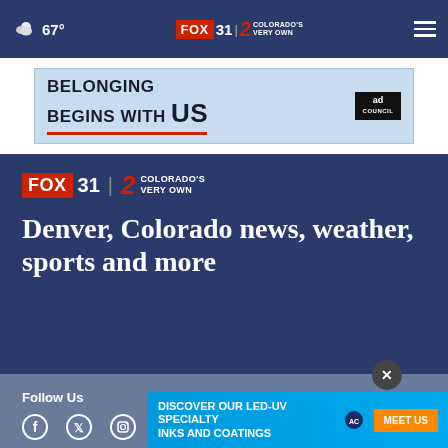67° FOX 31 2 COLORADO'S VERY OWN
[Figure (screenshot): Ad banner: BELONGING BEGINS WITH US (Ad Council)]
[Figure (logo): FOX 31 / 2 Colorado's Very Own logo]
Denver, Colorado news, weather, sports and more
Follow Us
[Figure (infographic): Social media icons: Facebook, Twitter/X, Instagram, YouTube, and others]
[Figure (screenshot): Bottom ad: DISCOVER OUR LED-UV SPECIALTY INKS AND COATINGS — MEET US (AC logo)]